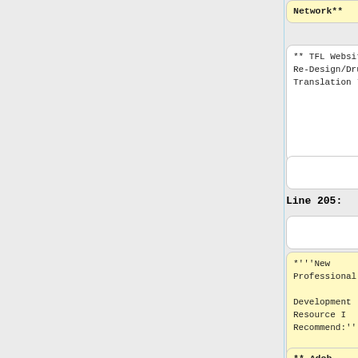Network**
** TFL Website Re-Design/Drupal Translation **
** TFL Website Re-Design/Drupal Translation **
Line 205:
Line 202:
*'''New Professional

Development Resource I Recommend:'''
*'''New Professional

Development Resource I Recommend:'''
** Adob